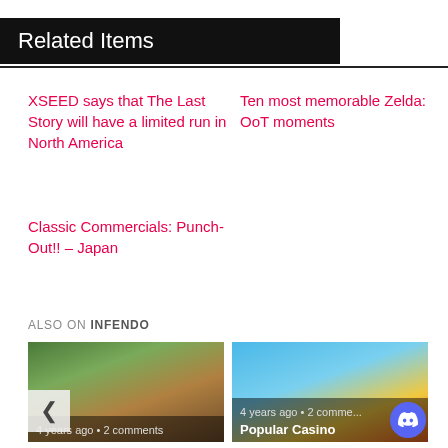Related Items
XSEED says that The Last Story will have a limited run in North America
Ten most memorable Zelda: OoT moments
Classic Commercials: Punch-Out!! – Japan
ALSO ON INFENDO
[Figure (photo): Thumbnail image of a green monster/creature in a nature scene, with navigation arrow. Caption: 4 years ago • 2 comments]
[Figure (photo): Thumbnail image of Mario characters with coins on blue background. Caption: 4 years ago • 2 comments. Title overlay: Popular Casino]